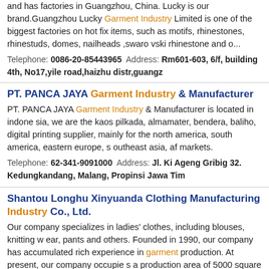and has factories in Guangzhou, China. Lucky is our brand.Guangzhou Lucky Garment Industry Limited is one of the biggest factories on hot fix items, such as motifs, rhinestones, rhinestuds, domes, nailheads ,swarovski rhinestone and o...
Telephone: 0086-20-85443965  Address: Rm601-603, 6/f, building 4th, No17,yile road,haizhu distr,guangz
PT. PANCA JAYA Garment Industry & Manufacturer
PT. PANCA JAYA Garment Industry & Manufacturer is located in indonesia, we are the kaos pilkada, almamater, bendera, baliho, digital printing supplier, mainly for the north america, south america, eastern europe, southeast asia, af markets.
Telephone: 62-341-9091000  Address: Jl. Ki Ageng Gribig 32. Kedungkandang, Malang, Propinsi Jawa Tim
Shantou Longhu Xinyuanda Clothing Manufacturing Industry Co., Ltd.
Our company specializes in ladies' clothes, including blouses, knitting wear, pants and others. Founded in 1990, our company has accumulated rich experience in garment production. At present, our company occupies a production area of 5000 square meters and has 600 employees. With advanced facilities...
Telephone: 86-754-88890640,1368  Address: Unit 301/601/602 Building F, Chengde Industry Village, #59, Tianshan Road, Shantou, Guangdong, China (Mainland).